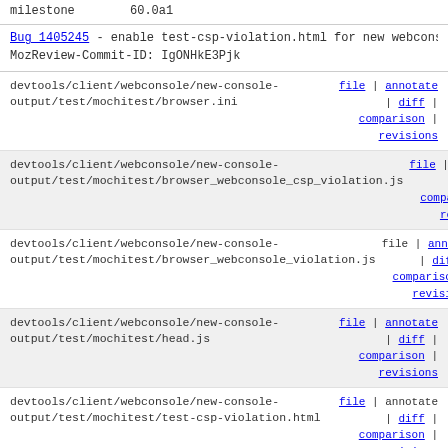milestone   60.0a1
Bug 1405245 - enable test-csp-violation.html for new webcons
MozReview-Commit-ID: IgONHkE3Pjk
| File path | Links |
| --- | --- |
| devtools/client/webconsole/new-console-output/test/mochitest/browser.ini | file | annotate | diff | comparison | revisions |
| devtools/client/webconsole/new-console-output/test/mochitest/browser_webconsole_csp_violation.js | file | annotate | diff | comparison | revisions |
| devtools/client/webconsole/new-console-output/test/mochitest/browser_webconsole_violation.js | file | annotate | diff | comparison | revisions |
| devtools/client/webconsole/new-console-output/test/mochitest/head.js | file | annotate | diff | comparison | revisions |
| devtools/client/webconsole/new-console-output/test/mochitest/test-csp-violation.html | file | annotate | diff | comparison | revisions |
| devtools/client/webconsole/new-console-output/test/mochitest/test_bug_1247459_violation.html | file | annotate | diff | comparison | revisions |
1.1   --- a/devtools/client/webconsole/new-console-output
1.2   +++ b/devtools/client/webconsole/new-console-output